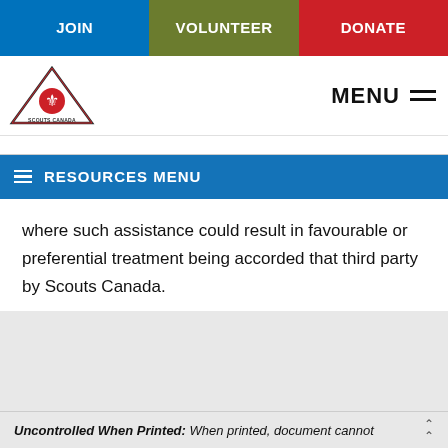JOIN | VOLUNTEER | DONATE
[Figure (logo): Scouts Canada triangular logo with fleur-de-lis and text SCOUTS CANADA]
RESOURCES MENU
where such assistance could result in favourable or preferential treatment being accorded that third party by Scouts Canada.
Uncontrolled When Printed: When printed, document cannot